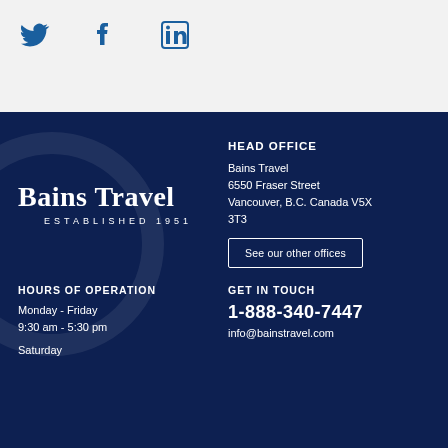[Figure (illustration): Social media icons: Twitter bird, Facebook f, LinkedIn in — in dark blue on light gray background]
[Figure (logo): Bains Travel logo with text 'Bains Travel' in white serif font and 'ESTABLISHED 1951' in white spaced caps below, on dark navy background]
HEAD OFFICE
Bains Travel
6550 Fraser Street
Vancouver, B.C. Canada V5X 3T3
See our other offices
HOURS OF OPERATION
Monday - Friday
9:30 am - 5:30 pm
GET IN TOUCH
1-888-340-7447
info@bainstravel.com